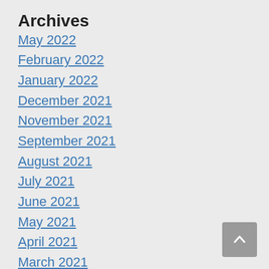Archives
May 2022
February 2022
January 2022
December 2021
November 2021
September 2021
August 2021
July 2021
June 2021
May 2021
April 2021
March 2021